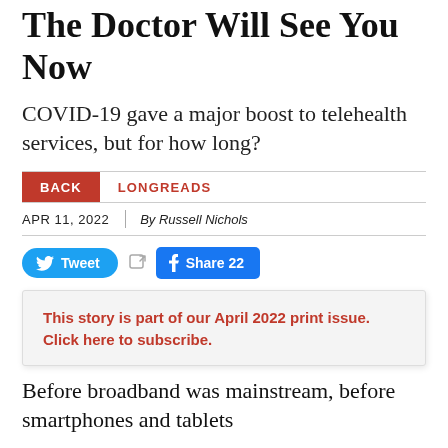The Doctor Will See You Now
COVID-19 gave a major boost to telehealth services, but for how long?
BACK   LONGREADS
APR 11, 2022   By Russell Nichols
Tweet   Share 22
This story is part of our April 2022 print issue. Click here to subscribe.
Before broadband was mainstream, before smartphones and tablets